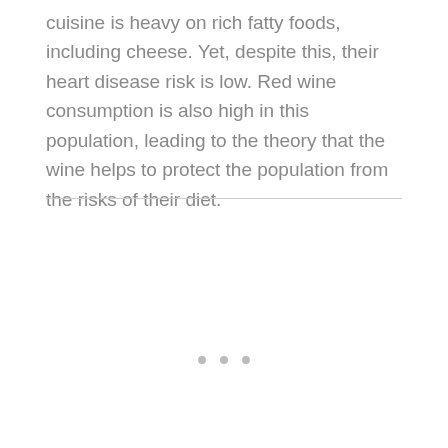cuisine is heavy on rich fatty foods, including cheese. Yet, despite this, their heart disease risk is low. Red wine consumption is also high in this population, leading to the theory that the wine helps to protect the population from the risks of their diet.
[Figure (other): Horizontal divider line separating text from empty space below, with three small dots centered near the bottom of the empty region.]